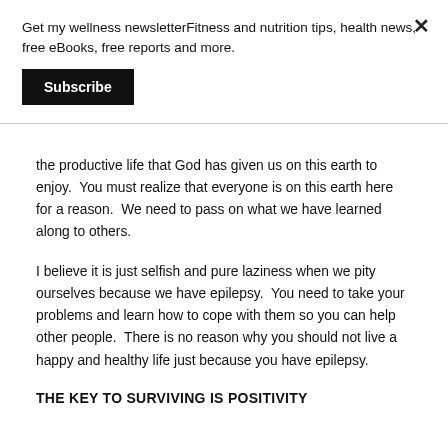Get my wellness newsletterFitness and nutrition tips, health news, free eBooks, free reports and more.
Subscribe
the productive life that God has given us on this earth to enjoy.  You must realize that everyone is on this earth here for a reason.  We need to pass on what we have learned along to others.
I believe it is just selfish and pure laziness when we pity ourselves because we have epilepsy.  You need to take your problems and learn how to cope with them so you can help other people.  There is no reason why you should not live a happy and healthy life just because you have epilepsy.
THE KEY TO SURVIVING IS POSITIVITY